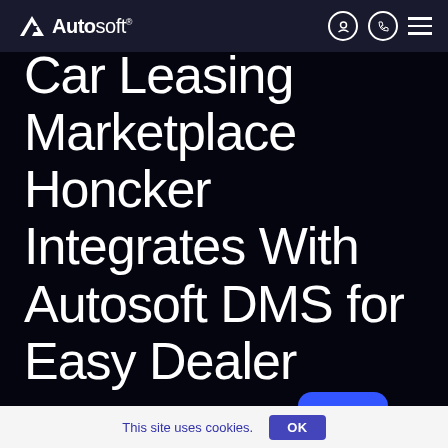Autosoft
Car Leasing Marketplace Honcker Integrates With Autosoft DMS for Easy Dealer
This site uses cookies.